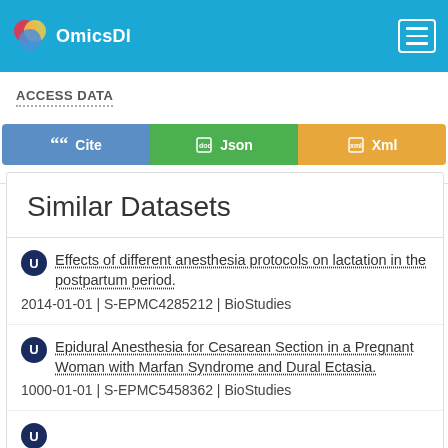OmicsDI
ACCESS DATA
[Figure (other): Three buttons: Cite (blue), Json (green), Xml (yellow/orange)]
Similar Datasets
Effects of different anesthesia protocols on lactation in the postpartum period.
2014-01-01 | S-EPMC4285212 | BioStudies
Epidural Anesthesia for Cesarean Section in a Pregnant Woman with Marfan Syndrome and Dural Ectasia.
1000-01-01 | S-EPMC5458362 | BioStudies
Epidural Anesthesia for Cesarean Section Anesthesia...